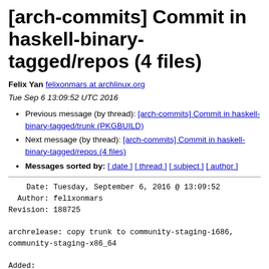[arch-commits] Commit in haskell-binary-tagged/repos (4 files)
Felix Yan felixonmars at archlinux.org
Tue Sep 6 13:09:52 UTC 2016
Previous message (by thread): [arch-commits] Commit in haskell-binary-tagged/trunk (PKGBUILD)
Next message (by thread): [arch-commits] Commit in haskell-binary-tagged/repos (4 files)
Messages sorted by: [ date ] [ thread ] [ subject ] [ author ]
Date: Tuesday, September 6, 2016 @ 13:09:52
  Author: felixonmars
Revision: 188725

archrelease: copy trunk to community-staging-i686,
community-staging-x86_64

Added:
    haskell-binary-tagged/repos/community-staging-i686/